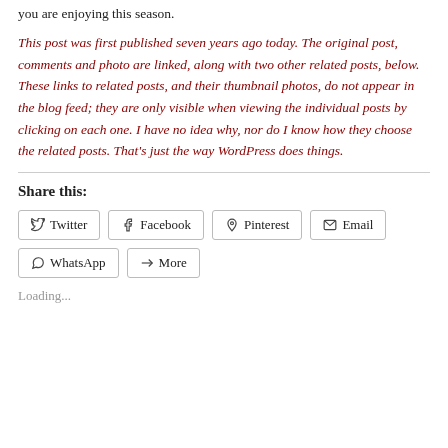you are enjoying this season.
This post was first published seven years ago today. The original post, comments and photo are linked, along with two other related posts, below. These links to related posts, and their thumbnail photos, do not appear in the blog feed; they are only visible when viewing the individual posts by clicking on each one. I have no idea why, nor do I know how they choose the related posts. That's just the way WordPress does things.
Share this:
Twitter  Facebook  Pinterest  Email  WhatsApp  More
Loading...